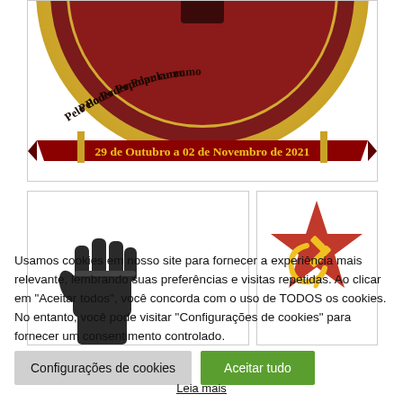[Figure (illustration): Partially visible circular badge/seal with dark red and gold colors showing text 'Pelo Poder Popular rumo...' and '29 de Outubro a 02 de Novembro de 2021' on a red ribbon banner with gold/yellow decorative elements]
[Figure (illustration): Partially visible black fist icon (raised fist) on white background]
[Figure (illustration): Red star with yellow hammer and sickle communist symbol on white background]
Usamos cookies em nosso site para fornecer a experiência mais relevante, lembrando suas preferências e visitas repetidas. Ao clicar em "Aceitar todos", você concorda com o uso de TODOS os cookies. No entanto, você pode visitar "Configurações de cookies" para fornecer um consentimento controlado.
Configurações de cookies
Aceitar tudo
Leia mais